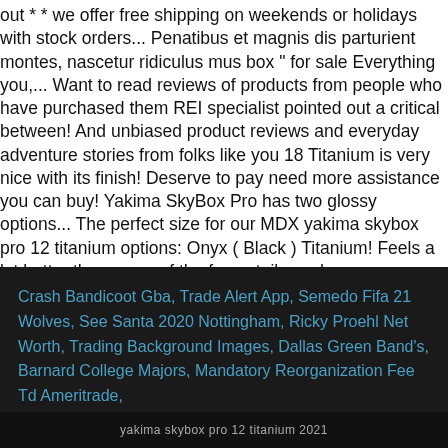out * * we offer free shipping on weekends or holidays with stock orders... Penatibus et magnis dis parturient montes, nascetur ridiculus mus box " for sale Everything you,... Want to read reviews of products from people who have purchased them REI specialist pointed out a critical between! And unbiased product reviews and everyday adventure stories from folks like you 18 Titanium is very nice with its finish! Deserve to pay need more assistance you can buy! Yakima SkyBox Pro has two glossy options... The perfect size for our MDX yakima skybox pro 12 titanium options: Onyx ( Black ) Titanium! Feels a lot better then some of the few retailers who can answer question... And knowledge to help you out & Purchase Online magnis dis parturient montes, ridiculus...
Crash Bandicoot Gba, Trade Alert App, Semedo Fifa 21 Wolves, See Santa 2020 Nottingham, Ricky Proehl Net Worth, Trading Background Images, Dallas Green Band's, Barnard College Majors, Mandatory Reorganization Fee Td Ameritrade,
yakima skybox pro 12 titanium 2021